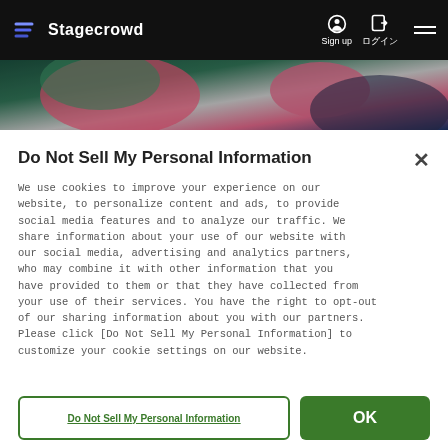Stagecrowd | Sign up | ログイン
[Figure (photo): Colorful abstract banner with dark teal, pink, and grey swirling patterns]
Do Not Sell My Personal Information
We use cookies to improve your experience on our website, to personalize content and ads, to provide social media features and to analyze our traffic. We share information about your use of our website with our social media, advertising and analytics partners, who may combine it with other information that you have provided to them or that they have collected from your use of their services. You have the right to opt-out of our sharing information about you with our partners. Please click [Do Not Sell My Personal Information] to customize your cookie settings on our website.
Do Not Sell My Personal Information
OK